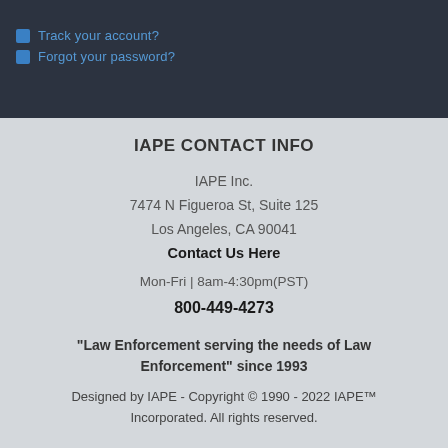Track your account?
Forgot your password?
IAPE CONTACT INFO
IAPE Inc.
7474 N Figueroa St, Suite 125
Los Angeles, CA 90041
Contact Us Here
Mon-Fri | 8am-4:30pm(PST)
800-449-4273
“Law Enforcement serving the needs of Law Enforcement” since 1993
Designed by IAPE - Copyright © 1990 - 2022 IAPE™ Incorporated. All rights reserved.